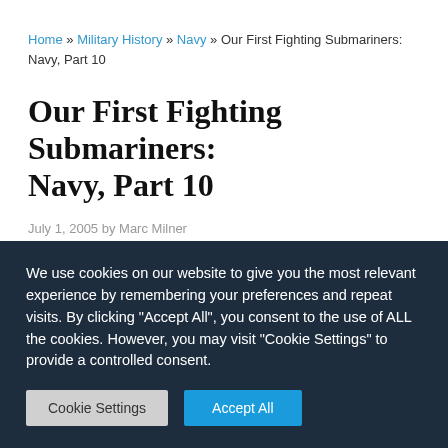Home » Military History » Navy » Our First Fighting Submariners: Navy, Part 10
Our First Fighting Submariners: Navy, Part 10
July 1, 2005  by Marc Milner
We use cookies on our website to give you the most relevant experience by remembering your preferences and repeat visits. By clicking "Accept All", you consent to the use of ALL the cookies. However, you may visit "Cookie Settings" to provide a controlled consent.